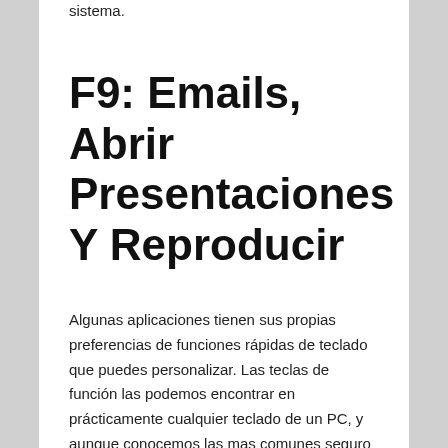sistema.
F9: Emails, Abrir Presentaciones Y Reproducir
Algunas aplicaciones tienen sus propias preferencias de funciones rápidas de teclado que puedes personalizar. Las teclas de función las podemos encontrar en prácticamente cualquier teclado de un PC, y aunque conocemos las mas comunes seguro que no sabemos para que sirve exactamente cada una de ellas. Estas son teclas programables de acuerdo al sistema operativo o a un programa y por lo general se ubican en la parte